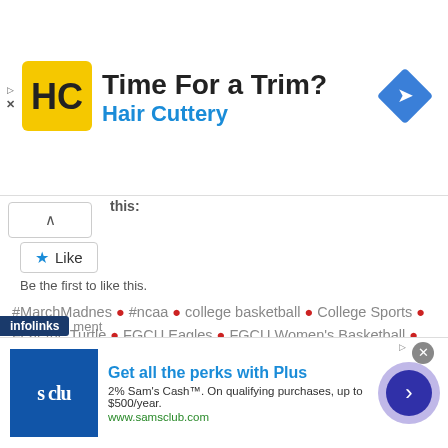[Figure (screenshot): Hair Cuttery advertisement banner with HC logo, headline 'Time For a Trim?' and brand name 'Hair Cuttery', with blue navigation diamond icon]
this:
[Figure (screenshot): Like button with star icon]
Be the first to like this.
#MarchMadnes • #ncaa • college basketball • College Sports • Fear the Turtle • FGCU Eagles • FGCU Women's Basketball • Gary Williams Court • March Madness • Maryland Terrapins • Maryland Women's Basketball • ncaa basketball • NCAA Women's Tournament • Women's Basketball • Women's College Basketball • XFINITY Center
[Figure (screenshot): infolinks label and partial text 'ment']
[Figure (screenshot): Sam's Club advertisement: 'Get all the perks with Plus', '2% Sam’s Cash™. On qualifying purchases, up to $500/year.', 'www.samsclub.com']